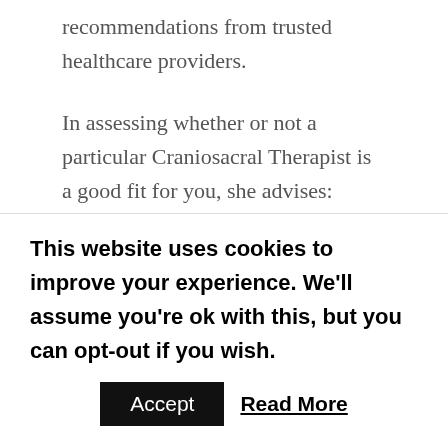recommendations from trusted healthcare providers.
In assessing whether or not a particular Craniosacral Therapist is a good fit for you, she advises: “Find out if a practitioner is certified, or how many courses he/she has taken, in addition to the number of years the therapist has been in practice. Ask if the practitioner is comfortable with treating your condition, and if he/she has treated similar issues. Many highly skilled Craniosacral Therapists are not
This website uses cookies to improve your experience. We'll assume you're ok with this, but you can opt-out if you wish.
Accept
Read More